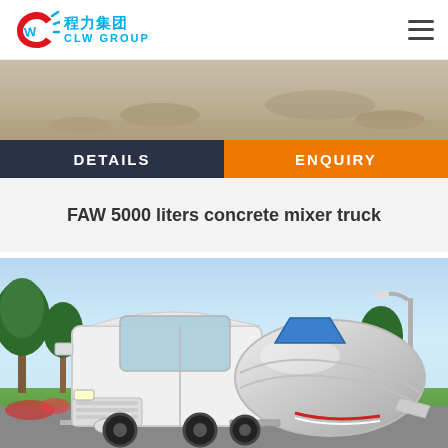[Figure (logo): CLW Group logo with red and blue circular emblem, Chinese characters 程力集团 and text CLW GROUP]
[Figure (photo): Top partial image strip showing sandy/ground terrain, appears to be cropped product/outdoor scene]
DETAILS
ENQUIRY
FAW 5000 liters concrete mixer truck
[Figure (photo): FAW concrete mixer truck (white cab) with large silver/chrome mixer drum, parked outdoors with trees and road in background]